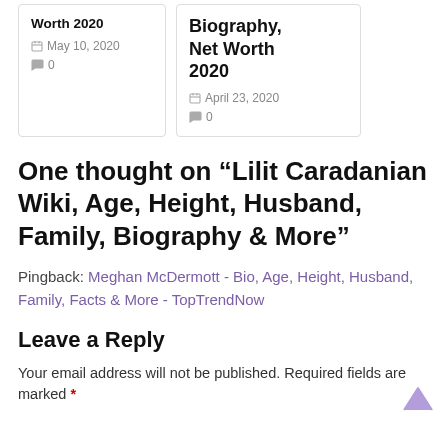Worth 2020 · May 10, 2020 · 0 comments (card)
Biography, Net Worth 2020 · April 23, 2020 · 0 comments (card)
One thought on “Lilit Caradanian Wiki, Age, Height, Husband, Family, Biography & More”
Pingback: Meghan McDermott - Bio, Age, Height, Husband, Family, Facts & More - TopTrendNow
Leave a Reply
Your email address will not be published. Required fields are marked *